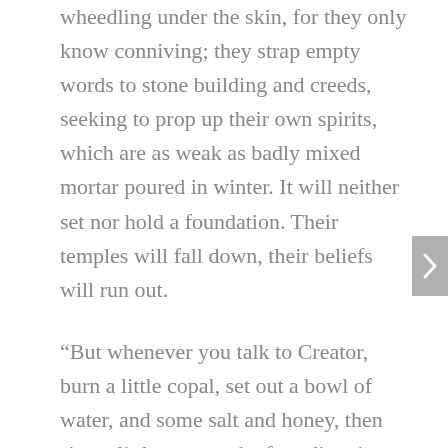wheedling under the skin, for they only know conniving; they strap empty words to stone building and creeds, seeking to prop up their own spirits, which are as weak as badly mixed mortar poured in winter. It will neither set nor hold a foundation. Their temples will fall down, their beliefs will run out.
“But whenever you talk to Creator, burn a little copal, set out a bowl of water, and some salt and honey, then sing a little song to the four directions to let God know you are there. In this way, Creator comes quietly to you, like a hummingbird dancing on the scent of sweet flowers. And Creator will release to you what is